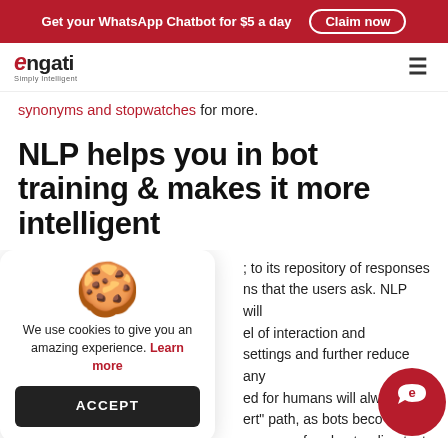Get your WhatsApp Chatbot for $5 a day  Claim now
[Figure (logo): Engati Simply Intelligent logo with hamburger menu icon]
synonyms and stopwatches for more.
NLP helps you in bot training & makes it more intelligent
[Figure (illustration): Cookie consent popup with cookie icon, text 'We use cookies to give you an amazing experience. Learn more' and an ACCEPT button]
; to its repository of responses ns that the users ask. NLP will el of interaction and settings and further reduce any ed for humans will alwa ert" path, as bots beco ccuracy of understanding text